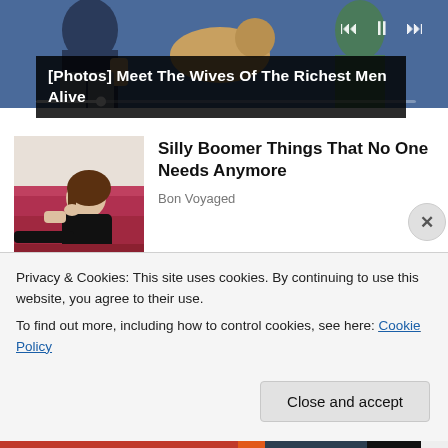[Figure (screenshot): Video player thumbnail showing people seated, with media controls (skip back, pause, skip forward) and a progress bar overlay]
[Photos] Meet The Wives Of The Richest Men Alive
[Figure (photo): Thumbnail image of a woman in black top lying on a pink/red couch]
Silly Boomer Things That No One Needs Anymore
Bon Voyaged
[Figure (photo): Partial thumbnail of a second article]
[Photos] Do you Remember
Privacy & Cookies: This site uses cookies. By continuing to use this website, you agree to their use.
To find out more, including how to control cookies, see here: Cookie Policy
Close and accept